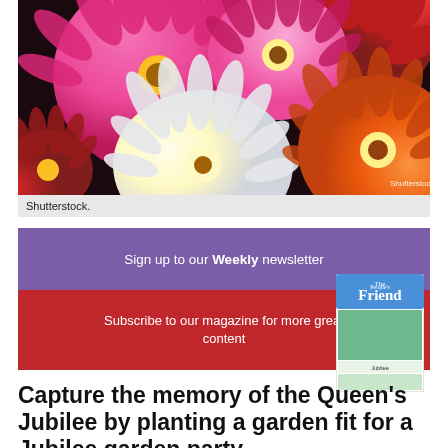[Figure (photo): Close-up photo of colorful dahlia flowers in pink, white, red, and orange, with a Shutterstock watermark in the bottom right corner.]
Shutterstock.
[Figure (infographic): Promotional banner with purple top section reading 'Sign up to our Weekly newsletter' and red bottom section reading 'Subscribe to our magazine for more great content', with a magazine cover image on the right.]
Capture the memory of the Queen's Jubilee by planting a garden fit for a Jubilee garden party